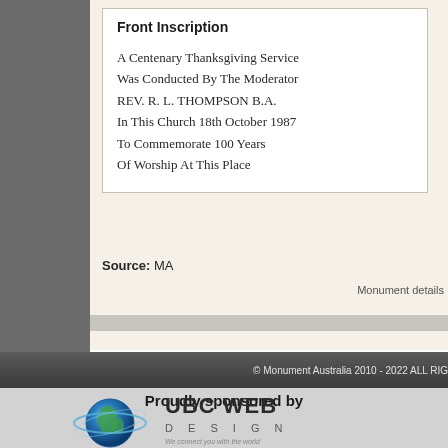Front Inscription
A Centenary Thanksgiving Service
Was Conducted By The Moderator
REV. R. L. THOMPSON B.A.
In This Church 18th October 1987
To Commemorate 100 Years
Of Worship At This Place
Source: MA
Monument details
© Monument Australia 2010 - 2022 ALL RIG
Proudly sponsored by
[Figure (logo): UBC Web Design logo with globe graphic and text 'UBC WEB DESIGN - We connect you with the world']